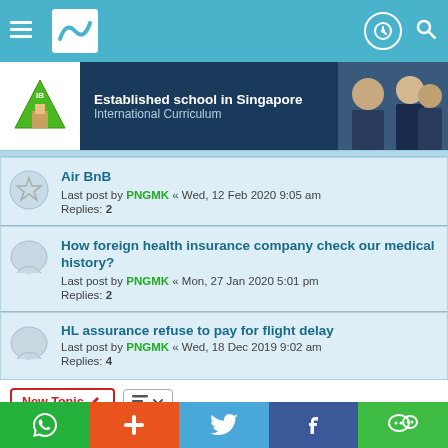Navigation bar with menu, logo, profile icon, and search icon
[Figure (infographic): Advertisement banner: Established school in Singapore - International Curriculum, with school logo and photo of students]
Air BnB
Last post by PNGMK « Wed, 12 Feb 2020 9:05 am
Replies: 2
How foreign health insurance company check our medical history?
Last post by PNGMK « Mon, 27 Jan 2020 5:01 pm
Replies: 2
HL assurance refuse to pay for flight delay
Last post by PNGMK « Wed, 18 Dec 2019 9:02 am
Replies: 4
New Topic  |  Sort  |  120 topics  1 2 3 4 5 6 >
Social footer: WhatsApp, Plus, Twitter, Facebook, WeChat